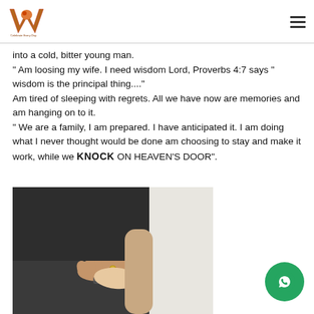Wakirite blog - logo and navigation
into a cold, bitter young man.
" Am loosing my wife. I need wisdom Lord, Proverbs 4:7 says " wisdom is the principal thing...."
Am tired of sleeping with regrets. All we have now are memories and am hanging on to it.
" We are a family, I am prepared. I have anticipated it. I am doing what I never thought would be done am choosing to stay and make it work, while we KNOCK ON HEAVEN'S DOOR".
[Figure (photo): Two people holding hands, one in dark clothing with a watch and ring, the other in light/white clothing]